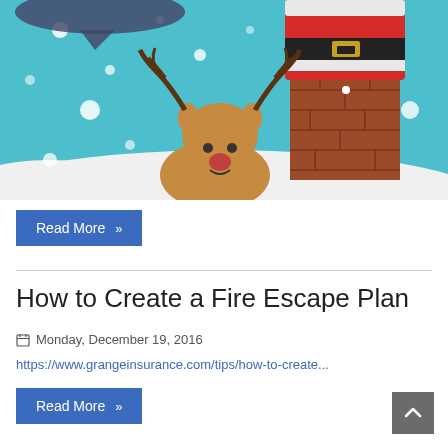[Figure (illustration): Christmas holiday illustration showing a cartoon reindeer in snow with a brick chimney and Santa Claus in red suit partially visible descending the chimney, set against a teal/blue snowy background with white snow dots]
Read More »
How to Create a Fire Escape Plan
Monday, December 19, 2016
https://www.grangeinsurance.com/tips/how-to-create...
Read More »